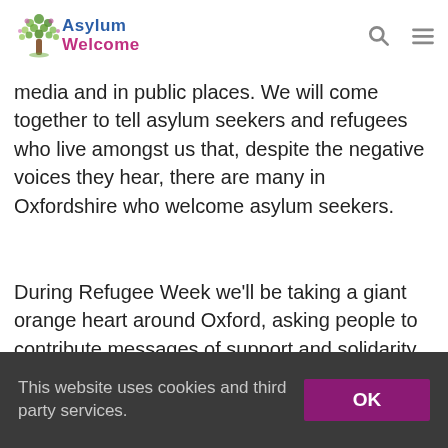Asylum Welcome
tally this symbol on the orange heart. We want to create a welcoming community by showing hearts in our front windows, on social media and in public places. We will come together to tell asylum seekers and refugees who live amongst us that, despite the negative voices they hear, there are many in Oxfordshire who welcome asylum seekers.
During Refugee Week we'll be taking a giant orange heart around Oxford, asking people to contribute messages of support and solidarity that we can share with our clients and community. We're also leading a group of key
This website uses cookies and third party services.